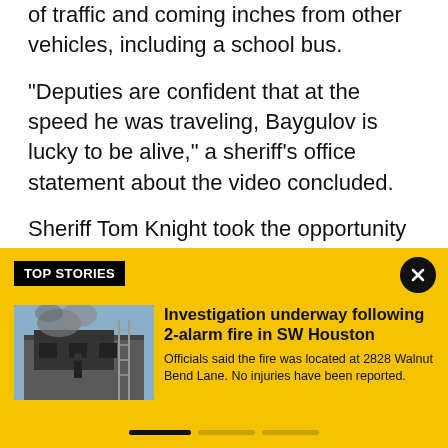of traffic and coming inches from other vehicles, including a school bus.
"Deputies are confident that at the speed he was traveling, Baygulov is lucky to be alive," a sheriff's office statement about the video concluded.
Sheriff Tom Knight took the opportunity to point out that there have been 84 traffic crashes involving
TOP STORIES
[Figure (photo): Photo of a building on fire with firefighters on scene, ladders visible against structure with smoke and damage]
Investigation underway following 2-alarm fire in SW Houston
Officials said the fire was located at 2828 Walnut Bend Lane. No injuries have been reported.